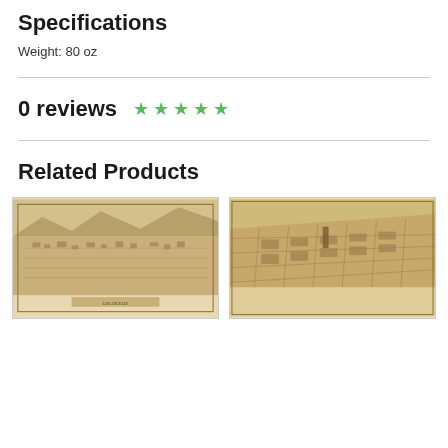Specifications
Weight: 80 oz
0 reviews ★ ★ ★ ★ ★
Related Products
[Figure (photo): Aerial/bird's eye view map of Los Angeles, sepia-toned vintage illustration]
[Figure (photo): Aerial/bird's eye view map of a city, sepia-toned vintage illustration]